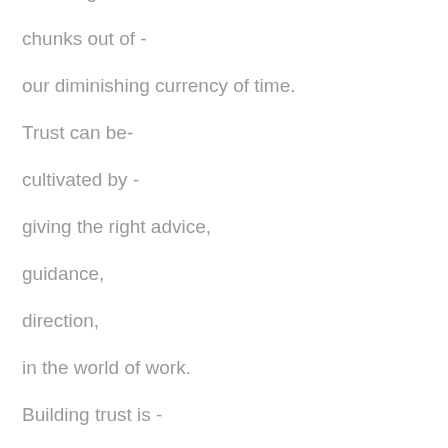nurturing trust takes -

chunks out of -

our diminishing currency of time.

Trust can be-

cultivated by -

giving the right advice,

guidance,

direction,

in the world of work.

Building trust is -

an ongoing journey,

with no ending and...